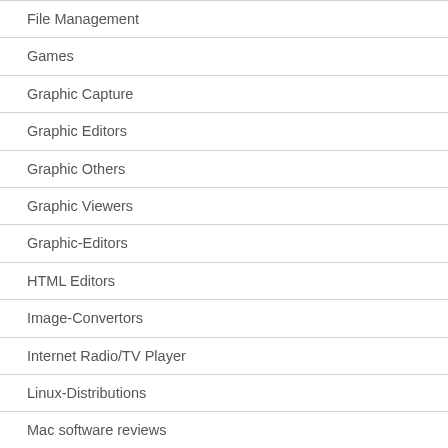File Management
Games
Graphic Capture
Graphic Editors
Graphic Others
Graphic Viewers
Graphic-Editors
HTML Editors
Image-Convertors
Internet Radio/TV Player
Linux-Distributions
Mac software reviews
Mobile Phone Tools
Multimedia